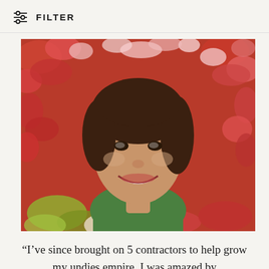FILTER
[Figure (photo): A smiling woman with short dark hair wearing a green top, lying among red autumn leaves, taking a selfie.]
“I’ve since brought on 5 contractors to help grow my undies empire. I was amazed by